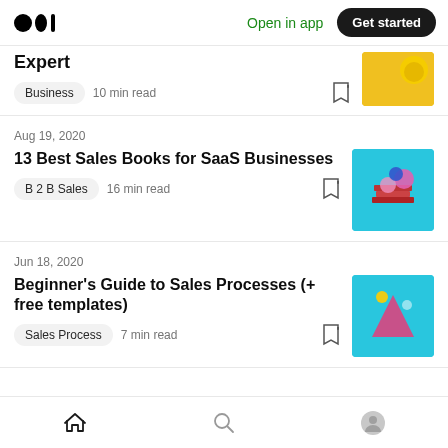Medium logo | Open in app | Get started
Expert
Business · 10 min read
Aug 19, 2020
13 Best Sales Books for SaaS Businesses
B 2 B Sales · 16 min read
Jun 18, 2020
Beginner's Guide to Sales Processes (+ free templates)
Sales Process · 7 min read
Home | Search | Profile